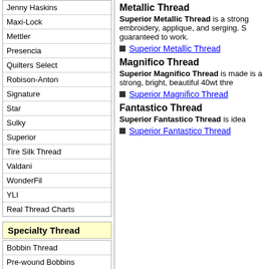Jenny Haskins
Maxi-Lock
Mettler
Presencia
Quilters Select
Robison-Anton
Signature
Star
Sulky
Superior
Tire Silk Thread
Valdani
WonderFil
YLI
Real Thread Charts
Specialty Thread
Bobbin Thread
Pre-wound Bobbins
Fil-Tec Pre-Wound Bobbins
Metallic Thread
Superior Metallic Thread is a strong embroidery, applique, and serging. S guaranteed to work.
Superior Metallic Thread
Magnifico Thread
Superior Magnifico Thread is made is a strong, bright, beautiful 40wt thre
Superior Magnifico Thread
Fantastico Thread
Superior Fantastico Thread is idea
Superior Fantastico Thread